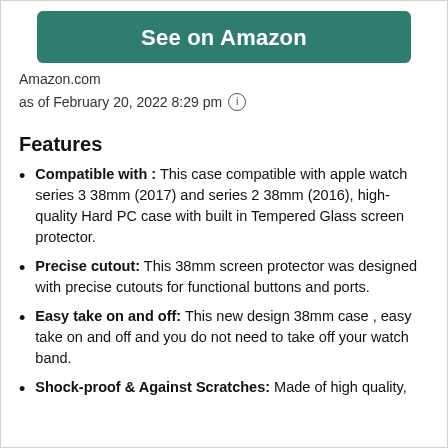[Figure (other): Green 'See on Amazon' button]
Amazon.com
as of February 20, 2022 8:29 pm ℹ
Features
Compatible with : This case compatible with apple watch series 3 38mm (2017) and series 2 38mm (2016), high-quality Hard PC case with built in Tempered Glass screen protector.
Precise cutout: This 38mm screen protector was designed with precise cutouts for functional buttons and ports.
Easy take on and off: This new design 38mm case , easy take on and off and you do not need to take off your watch band.
Shock-proof & Against Scratches: Made of high quality,